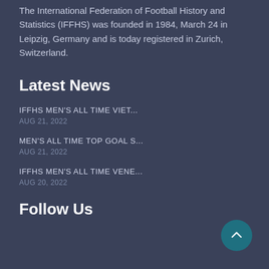The International Federation of Football History and Statistics (IFFHS) was founded in 1984, March 24 in Leipzig, Germany and is today registered in Zurich, Switzerland.
Latest News
IFFHS MEN'S ALL TIME VIET... — AUG 21, 2022
MEN'S ALL TIME TOP GOAL S... — AUG 21, 2022
IFFHS MEN'S ALL TIME VENE... — AUG 20, 2022
Follow Us